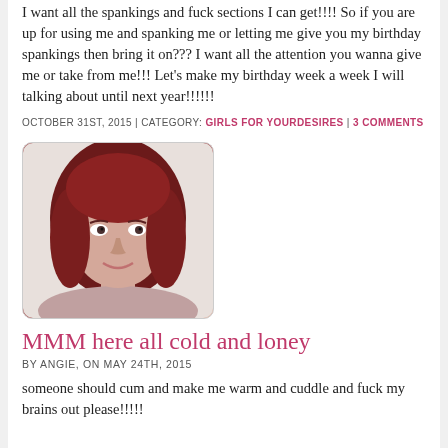I want all the spankings and fuck sections I can get!!!! So if you are up for using me and spanking me or letting me give you my birthday spankings then bring it on??? I want all the attention you wanna give me or take from me!!! Let’s make my birthday week a week I will talking about until next year!!!!!!
OCTOBER 31ST, 2015 | CATEGORY: GIRLS FOR YOURDESIRES | 3 COMMENTS
[Figure (photo): Portrait photo of a woman with long dark red hair, smiling, against a light background.]
MMM here all cold and loney
BY ANGIE, ON MAY 24TH, 2015
someone should cum and make me warm and cuddle and fuck my brains out please!!!!!